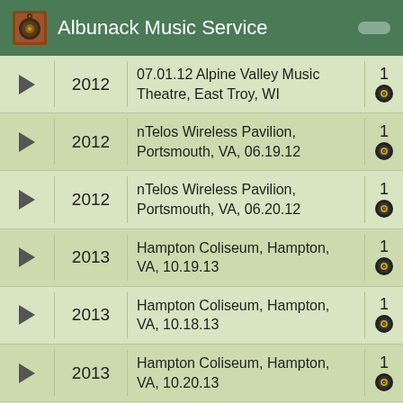Albunack Music Service
| Play | Year | Title | Count |
| --- | --- | --- | --- |
| ► | 2012 | 07.01.12 Alpine Valley Music Theatre, East Troy, WI | 1 |
| ► | 2012 | nTelos Wireless Pavilion, Portsmouth, VA, 06.19.12 | 1 |
| ► | 2012 | nTelos Wireless Pavilion, Portsmouth, VA, 06.20.12 | 1 |
| ► | 2013 | Hampton Coliseum, Hampton, VA, 10.19.13 | 1 |
| ► | 2013 | Hampton Coliseum, Hampton, VA, 10.18.13 | 1 |
| ► | 2013 | Hampton Coliseum, Hampton, VA, 10.20.13 | 1 |
| ► | 2014 | Livephish December 31st, 2013, New Year's Eve | 1 |